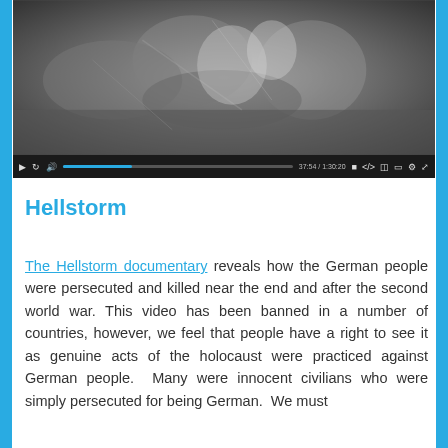[Figure (screenshot): Video player screenshot showing a black and white historical photograph with video controls bar at the bottom showing a progress bar and playback icons. Time shown: 37:54 / 1:30:20]
Hellstorm
The Hellstorm documentary reveals how the German people were persecuted and killed near the end and after the second world war. This video has been banned in a number of countries, however, we feel that people have a right to see it as genuine acts of the holocaust were practiced against German people.  Many were innocent civilians who were simply persecuted for being German.  We must